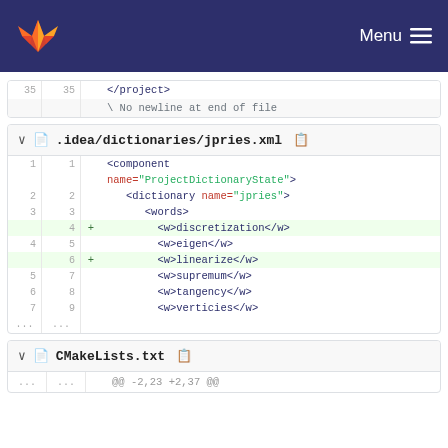GitLab Menu
[Figure (screenshot): GitLab diff view showing code changes across three files: end of a project file with </project> tag, .idea/dictionaries/jpries.xml with added dictionary words (discretization, linearize), and start of CMakeLists.txt diff]
35   35   </project>
\ No newline at end of file
.idea/dictionaries/jpries.xml
1  1   <component
         name="ProjectDictionaryState">
2  2       <dictionary name="jpries">
3  3           <words>
   4  +         <w>discretization</w>
4  5           <w>eigen</w>
   6  +         <w>linearize</w>
5  7           <w>supremum</w>
6  8           <w>tangency</w>
7  9           <w>verticies</w>
...  ...
CMakeLists.txt
...  ...   @@ -2,23 +2,37 @@